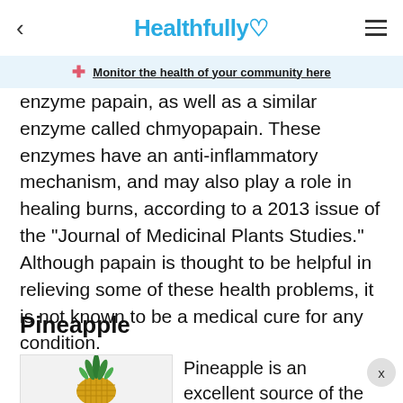Healthfully
Monitor the health of your community here
enzyme papain, as well as a similar enzyme called chmyopapain. These enzymes have an anti-inflammatory mechanism, and may also play a role in healing burns, according to a 2013 issue of the "Journal of Medicinal Plants Studies." Although papain is thought to be helpful in relieving some of these health problems, it is not known to be a medical cure for any condition.
Pineapple
[Figure (photo): A pineapple fruit]
Pineapple is an excellent source of the protease-